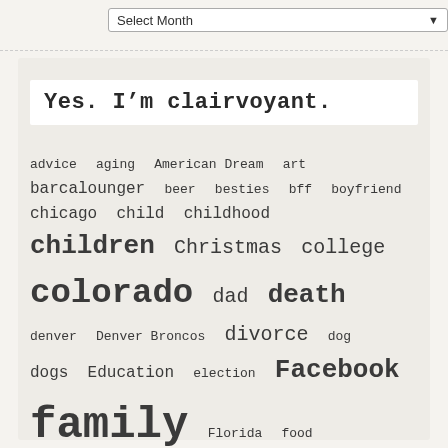Select Month
Yes. I'm clairvoyant.
advice aging American Dream art barcalounger beer besties bff boyfriend chicago child childhood children Christmas college colorado dad death denver Denver Broncos divorce dog dogs Education election Facebook family Florida food friendship fun Gemini gemini girl in a random world giving health high school Holiday Holidays home honesty hope humor inspiration iphone iPod kentucky kids kumbaya las vegas life life lessons Louisville love marriage mom mother neil diamond nostalgia Parent parenting pets relationships Spanx sports stacie